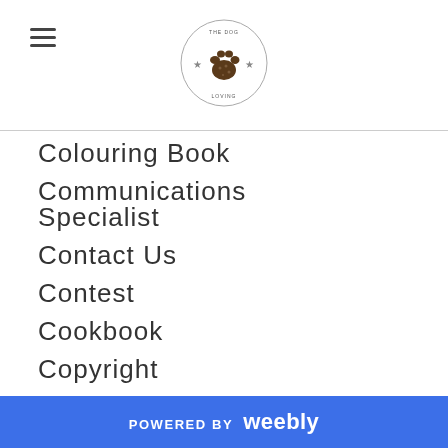Navigation menu with logo
Colouring Book
Communications Specialist
Contact Us
Contest
Cookbook
Copyright
Copyright Infringement
Crash Into Me
POWERED BY weebly